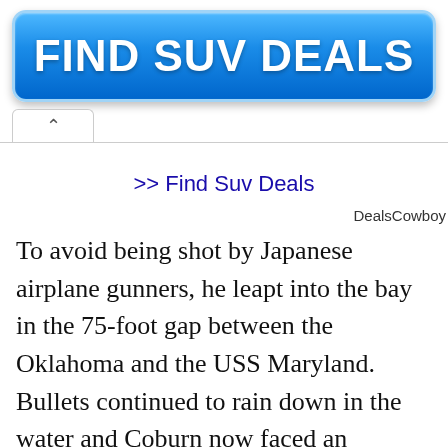[Figure (other): Blue gradient button with white bold text reading FIND SUV DEALS]
>> Find Suv Deals
DealsCowboy
To avoid being shot by Japanese airplane gunners, he leapt into the bay in the 75-foot gap between the Oklahoma and the USS Maryland. Bullets continued to rain down in the water and Coburn now faced an approaching slick of flaming oil from